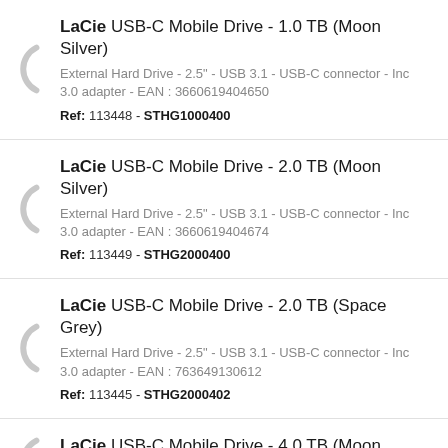LaCie USB-C Mobile Drive - 1.0 TB (Moon Silver)
External Hard Drive - 2.5" - USB 3.1 - USB-C connector - Inc 3.0 adapter - EAN : 3660619404650
Ref: 113448 - STHG1000400
LaCie USB-C Mobile Drive - 2.0 TB (Moon Silver)
External Hard Drive - 2.5" - USB 3.1 - USB-C connector - Inc 3.0 adapter - EAN : 3660619404674
Ref: 113449 - STHG2000400
LaCie USB-C Mobile Drive - 2.0 TB (Space Grey)
External Hard Drive - 2.5" - USB 3.1 - USB-C connector - Inc 3.0 adapter - EAN : 763649130612
Ref: 113445 - STHG2000402
LaCie USB-C Mobile Drive - 4.0 TB (Moon Silver)
External Hard Drive - 2.5" - USB 3.1 - USB-C connector - Inc